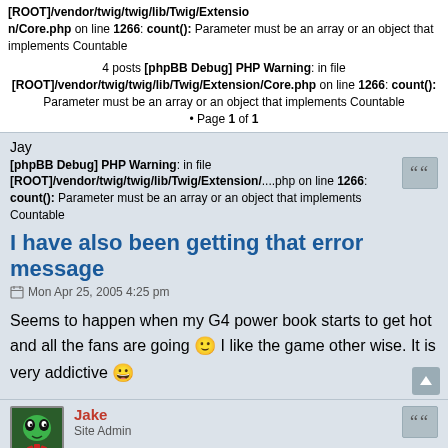[ROOT]/vendor/twig/twig/lib/Twig/Extension/Core.php on line 1266: count(): Parameter must be an array or an object that implements Countable
4 posts [phpBB Debug] PHP Warning: in file [ROOT]/vendor/twig/twig/lib/Twig/Extension/Core.php on line 1266: count(): Parameter must be an array or an object that implements Countable • Page 1 of 1
Jay
[phpBB Debug] PHP Warning: in file [ROOT]/vendor/twig/twig/lib/Twig/Extension/...php on line 1266: count(): Parameter must be an array or an object that implements Countable
I have also been getting that error message
Mon Apr 25, 2005 4:25 pm
Seems to happen when my G4 power book starts to get hot and all the fans are going 🙂 I like the game other wise. It is very addictive 😀
Jake
Site Admin
Mon Apr 25, 2005 4:53 pm
Hum, I don't think the heat has anything to do with it, I am still trying to figure out what causes it.
Nuclear Nova Software - Games and Apps for the Mac, iPhone, iPad, and iPod
GL Golf - Pinball Massacre - Barnyard Blaster - Rocket Golf - Liquid Defense -